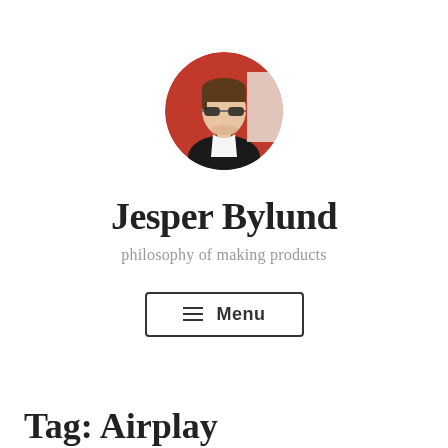[Figure (photo): Circular profile photo of a man wearing sunglasses, with short styled hair, in front of a reddish background]
Jesper Bylund
philosophy of making products
≡ Menu
Tag: Airplay